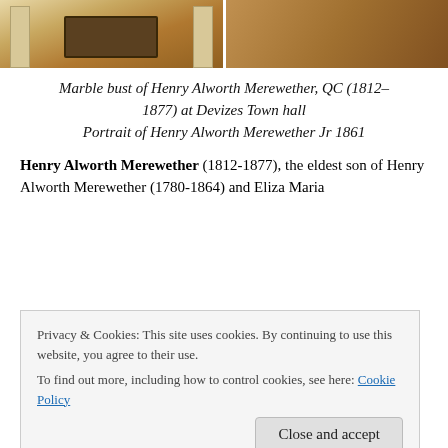[Figure (photo): Two photos side by side: left shows a marble bust of Henry Alworth Merewether QC at Devizes Town Hall, right shows a portrait painting of Henry Alworth Merewether Jr 1861]
Marble bust of Henry Alworth Merewether, QC (1812–1877) at Devizes Town hall
Portrait of Henry Alworth Merewether Jr 1861
Henry Alworth Merewether (1812-1877), the eldest son of Henry Alworth Merewether (1780-1864) and Eliza Maria
Privacy & Cookies: This site uses cookies. By continuing to use this website, you agree to their use.
To find out more, including how to control cookies, see here: Cookie Policy
Inner Temple on 3 June 1834. He was called to the Bar on